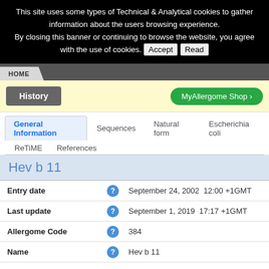This site uses some types of Technical & Analytical cookies to gather information about the users browsing experience. By closing this banner or continuing to browse the website, you agree with the use of cookies. Accept Read
HOME
History  MyAllergome Shop
General Information  Sequences  Natural form  Escherichia coli  ReTiME  References
Hev b 11
| Field |  | Value |
| --- | --- | --- |
| Entry date | ? | September 24, 2002  12:00 +1GMT |
| Last update | ? | September 1, 2019  17:17 +1GMT |
| Allergome Code | ? | 384 |
| Name | ? | Hev b 11 |
| Common Names | ? | a977, Chitinase, Class 1 Chitinase, Hevein-like, k224 |
| Biological Function | ? | Chitin-binding Proteins, Chitinases |
| Isoforms, Variants | ? | Hev b 11.0101, Hev b 11.0102 |